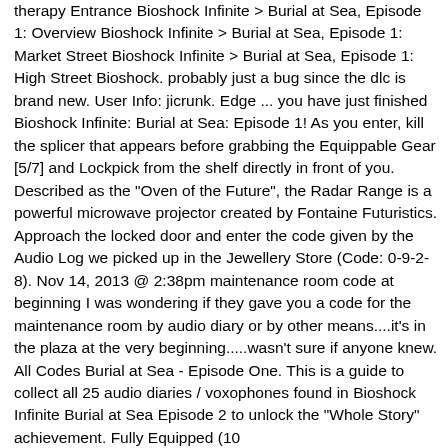therapy Entrance Bioshock Infinite > Burial at Sea, Episode 1: Overview Bioshock Infinite > Burial at Sea, Episode 1: Market Street Bioshock Infinite > Burial at Sea, Episode 1: High Street Bioshock. probably just a bug since the dlc is brand new. User Info: jicrunk. Edge ... you have just finished Bioshock Infinite: Burial at Sea: Episode 1! As you enter, kill the splicer that appears before grabbing the Equippable Gear [5/7] and Lockpick from the shelf directly in front of you. Described as the "Oven of the Future", the Radar Range is a powerful microwave projector created by Fontaine Futuristics. Approach the locked door and enter the code given by the Audio Log we picked up in the Jewellery Store (Code: 0-9-2-8). Nov 14, 2013 @ 2:38pm maintenance room code at beginning I was wondering if they gave you a code for the maintenance room by audio diary or by other means....it's in the plaza at the very beginning.....wasn't sure if anyone knew. All Codes Burial at Sea - Episode One. This is a guide to collect all 25 audio diaries / voxophones found in Bioshock Infinite Burial at Sea Episode 2 to unlock the "Whole Story" achievement. Fully Equipped (10